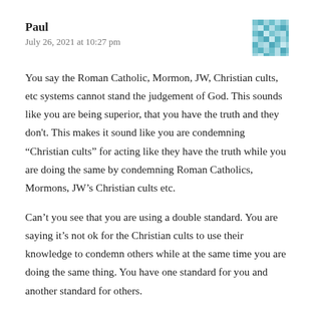Paul
July 26, 2021 at 10:27 pm
You say the Roman Catholic, Mormon, JW, Christian cults, etc systems cannot stand the judgement of God. This sounds like you are being superior, that you have the truth and they don't. This makes it sound like you are condemning “Christian cults” for acting like they have the truth while you are doing the same by condemning Roman Catholics, Mormons, JW’s Christian cults etc.
Can’t you see that you are using a double standard. You are saying it’s not ok for the Christian cults to use their knowledge to condemn others while at the same time you are doing the same thing. You have one standard for you and another standard for others.
So you agree with me that you cannot believe anything